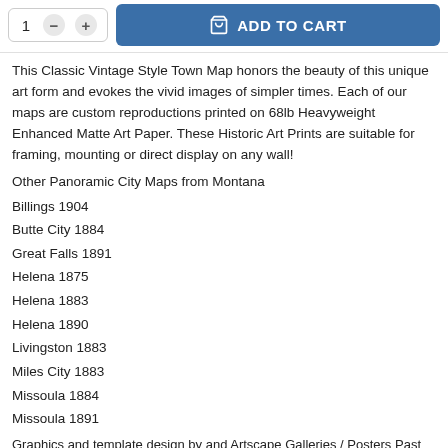1  −  +  ADD TO CART
This Classic Vintage Style Town Map honors the beauty of this unique art form and evokes the vivid images of simpler times. Each of our maps are custom reproductions printed on 68lb Heavyweight Enhanced Matte Art Paper. These Historic Art Prints are suitable for framing, mounting or direct display on any wall!
Other Panoramic City Maps from Montana
Billings 1904
Butte City 1884
Great Falls 1891
Helena 1875
Helena 1883
Helena 1890
Livingston 1883
Miles City 1883
Missoula 1884
Missoula 1891
Graphics and template design by and Artscape Galleries / Posters Past    PMAP-MT003